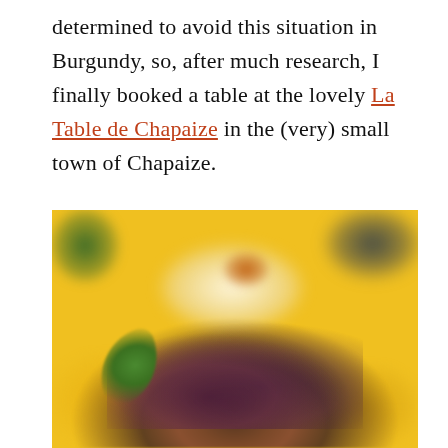determined to avoid this situation in Burgundy, so, after much research, I finally booked a table at the lovely La Table de Chapaize in the (very) small town of Chapaize.
[Figure (photo): Close-up food photography showing a dish with microgreens and green herbs on a yellow/orange background, with a blurred white and yellow element in the upper portion]